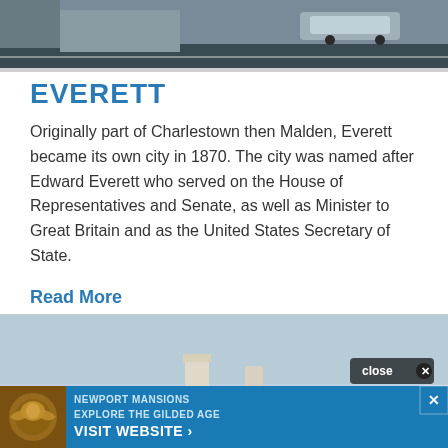[Figure (photo): Top portion of a street/road photo showing a car and road surface, cropped at top of page]
EVERETT
Originally part of Charlestown then Malden, Everett became its own city in 1870. The city was named after Edward Everett who served on the House of Representatives and Senate, as well as Minister to Great Britain and as the United States Secretary of State.
Read More
[Figure (photo): Outdoor photo showing buildings against a light blue sky with a crowd and green field at bottom. An advertisement banner overlays the bottom: Newport Mansions - Explore the Gilded Age - Visit Website, with a close button.]